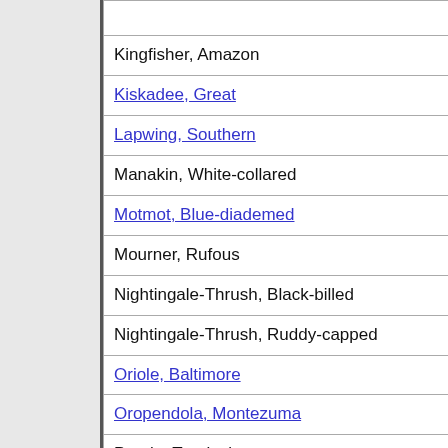| (partial - top cut off) |
| Kingfisher, Amazon |
| Kiskadee, Great |
| Lapwing, Southern |
| Manakin, White-collared |
| Motmot, Blue-diademed |
| Mourner, Rufous |
| Nightingale-Thrush, Black-billed |
| Nightingale-Thrush, Ruddy-capped |
| Oriole, Baltimore |
| Oropendola, Montezuma |
| Parula, Tropical |